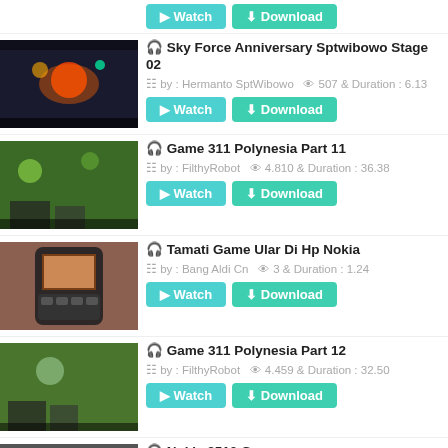[Figure (screenshot): Video thumbnail (partial, top cut off) with Watch and Download buttons]
[Figure (screenshot): Video thumbnail for Sky Force Anniversary Sptwibowo Stage 02]
Sky Force Anniversary Sptwibowo Stage 02 — by: Hermanto SptWibowo, 507 views, Duration: 6.13
[Figure (screenshot): Video thumbnail for Game 311 Polynesia Part 11]
Game 311 Polynesia Part 11 — by: FilthyRobot, 4.810 views, Duration: 36.38
[Figure (screenshot): Video thumbnail for Tamati Game Ular Di Hp Nokia]
Tamati Game Ular Di Hp Nokia — by: Bang Aldi Cn, 3 views, Duration: 1.24
[Figure (screenshot): Video thumbnail for Game 311 Polynesia Part 12]
Game 311 Polynesia Part 12 — by: FilthyRobot, 4.459 views, Duration: 32.50
[Figure (screenshot): Video thumbnail for Nokia 3510 Games (partial, bottom cut off)]
Nokia 3510 Games